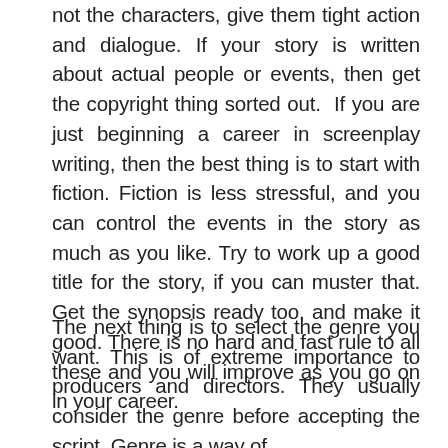not the characters, give them tight action and dialogue. If your story is written about actual people or events, then get the copyright thing sorted out.  If you are just beginning a career in screenplay writing, then the best thing is to start with fiction. Fiction is less stressful, and you can control the events in the story as much as you like. Try to work up a good title for the story, if you can muster that. Get the synopsis ready too, and make it good. There is no hard and fast rule to all these and you will improve as you go on in your career.
The next thing is to select the genre you want. This is of extreme importance to producers and directors. They usually consider the genre before accepting the script. Genre is a way of